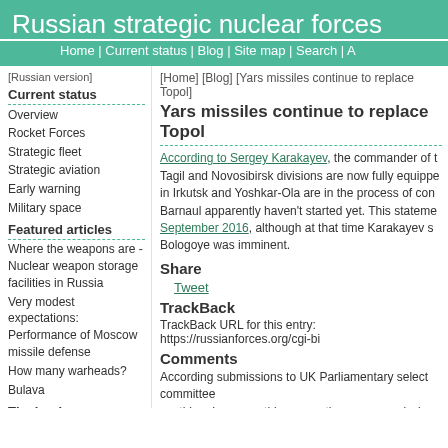Russian strategic nuclear forces
Home | Current status | Blog | Site map | Search | A
[Russian version]
Current status
Overview
Rocket Forces
Strategic fleet
Strategic aviation
Early warning
Military space
Featured articles
Where the weapons are - Nuclear weapon storage facilities in Russia
Very modest expectations: Performance of Moscow missile defense
How many warheads?
Bulava
The book
[Figure (photo): Book cover: Russian Strategic Nuclear Forces]
[Home] [Blog] [Yars missiles continue to replace Topol]
Yars missiles continue to replace Topol
According to Sergey Karakayev, the commander of the Tagil and Novosibirsk divisions are now fully equipped in Irkutsk and Yoshkar-Ola are in the process of con Barnaul apparently haven't started yet. This statement September 2016, although at that time Karakayev s Bologoye was imminent.
Share
Tweet
TrackBack
TrackBack URL for this entry: https://russianforces.org/cgi-bi
Comments
According submissions to UK Parliamentary select committee anything. I assume this means there are no mission trajectory Russian equivalent of this? This is what the submission says and confidence between Nuclear and Non Nuclear Weapons